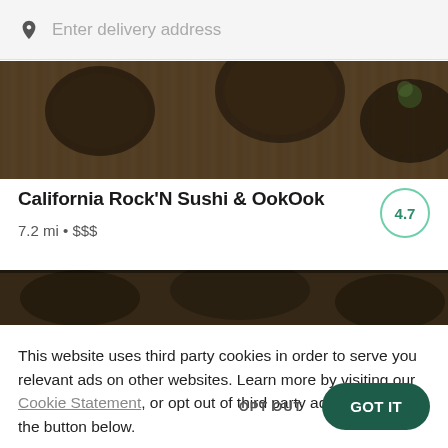Enter delivery address
[Figure (photo): Overhead photo of Japanese/sushi food dishes on a wooden table, darkened overlay]
California Rock'N Sushi & OokOok
7.2 mi • $$$
[Figure (photo): Partial overhead food photo with dark overlay, partially cropped]
This website uses third party cookies in order to serve you relevant ads on other websites. Learn more by visiting our Cookie Statement, or opt out of third party ad cookies using the button below.
OPT OUT
GOT IT